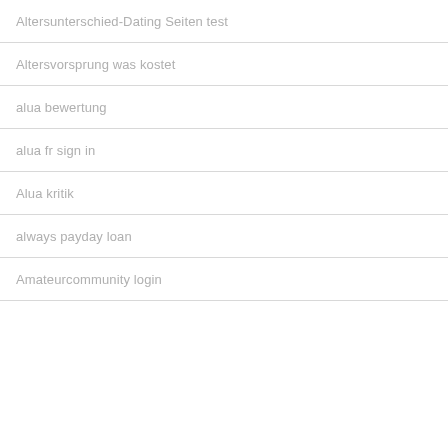Altersunterschied-Dating Seiten test
Altersvorsprung was kostet
alua bewertung
alua fr sign in
Alua kritik
always payday loan
Amateurcommunity login